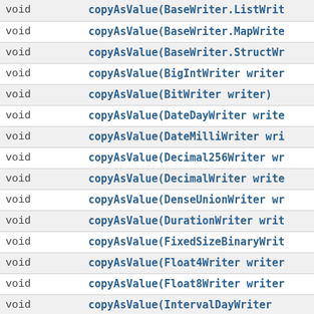| Return Type | Method |
| --- | --- |
| void | copyAsValue(BaseWriter.ListWrit… |
| void | copyAsValue(BaseWriter.MapWrite… |
| void | copyAsValue(BaseWriter.StructWr… |
| void | copyAsValue(BigIntWriter writer… |
| void | copyAsValue(BitWriter writer) |
| void | copyAsValue(DateDayWriter write… |
| void | copyAsValue(DateMilliWriter wri… |
| void | copyAsValue(Decimal256Writer wr… |
| void | copyAsValue(DecimalWriter write… |
| void | copyAsValue(DenseUnionWriter wr… |
| void | copyAsValue(DurationWriter writ… |
| void | copyAsValue(FixedSizeBinaryWrit… |
| void | copyAsValue(Float4Writer writer… |
| void | copyAsValue(Float8Writer writer… |
| void | copyAsValue(IntervalDayWriter… |